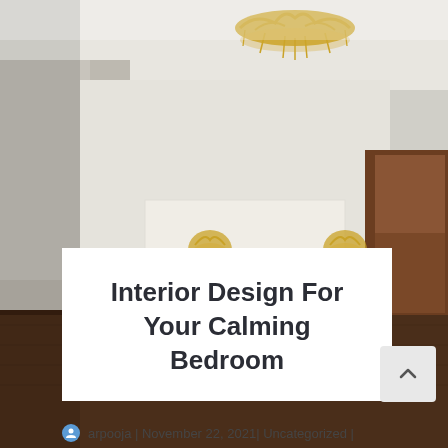[Figure (photo): Interior bedroom photo showing a white upholstered headboard against a white wall, a golden branch-style chandelier hanging from the ceiling, two gold decorative wall sconces flanking the headboard, dark hardwood flooring, and a dark wooden door on the right side.]
Interior Design For Your Calming Bedroom
arpooja | November 22, 2021| Uncategorized |